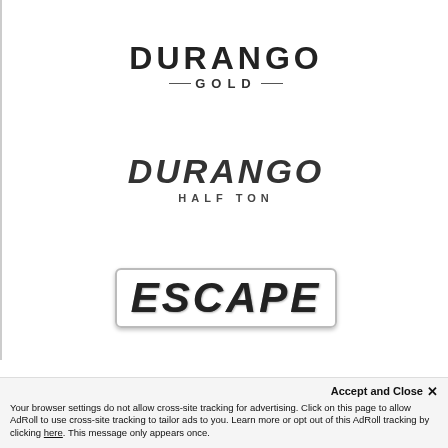[Figure (logo): Durango Gold logo — large bold uppercase DURANGO text with GOLD subtitle flanked by horizontal lines]
[Figure (logo): Durango Half Ton logo — large bold italic uppercase DURANGO text with HALF TON subtitle]
[Figure (logo): Escape logo — large bold italic uppercase ESCAPE text with metallic chrome-style border treatment]
Accept and Close ✕
Your browser settings do not allow cross-site tracking for advertising. Click on this page to allow AdRoll to use cross-site tracking to tailor ads to you. Learn more or opt out of this AdRoll tracking by clicking here. This message only appears once.